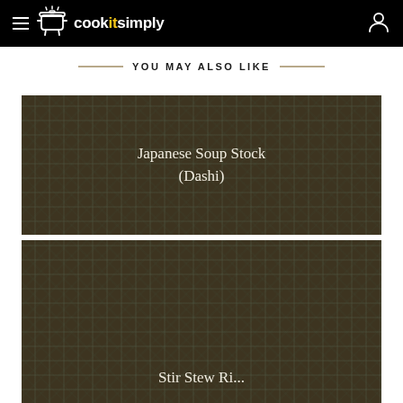cookitsimply
YOU MAY ALSO LIKE
[Figure (photo): Dark plaid/tartan textured background card with text 'Japanese Soup Stock (Dashi)']
[Figure (photo): Dark plaid/tartan textured background card with partially visible title text at bottom]